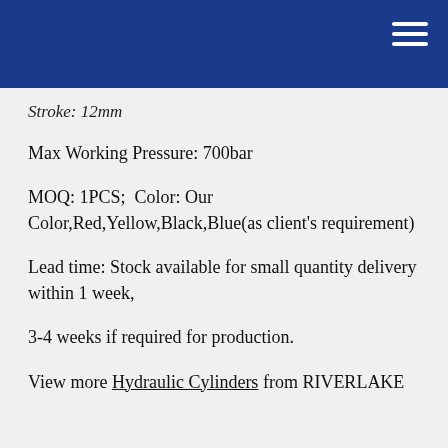Stroke: 12mm
Max Working Pressure: 700bar
MOQ: 1PCS;  Color: Our Color,Red,Yellow,Black,Blue(as client's requirement)
Lead time: Stock available for small quantity delivery within 1 week,
3-4 weeks if required for production.
View more Hydraulic Cylinders from RIVERLAKE